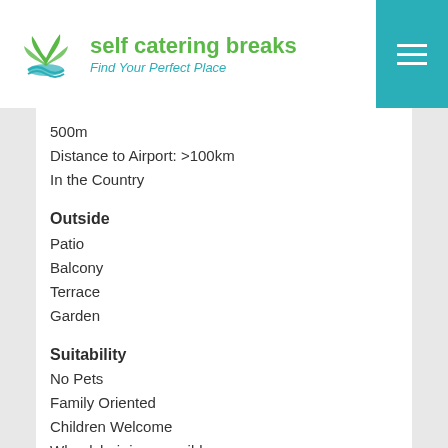self catering breaks – Find Your Perfect Place
500m
Distance to Airport: >100km
In the Country
Outside
Patio
Balcony
Terrace
Garden
Suitability
No Pets
Family Oriented
Children Welcome
Wheelchair inaccessible
Non Smoking Only
Accommodation
Accommodation Type:: Self Catering